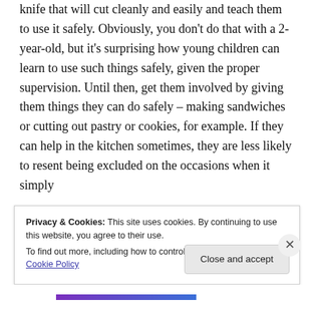knife that will cut cleanly and easily and teach them to use it safely. Obviously, you don't do that with a 2-year-old, but it's surprising how young children can learn to use such things safely, given the proper supervision. Until then, get them involved by giving them things they can do safely – making sandwiches or cutting out pastry or cookies, for example. If they can help in the kitchen sometimes, they are less likely to resent being excluded on the occasions when it simply
Privacy & Cookies: This site uses cookies. By continuing to use this website, you agree to their use.
To find out more, including how to control cookies, see here: Cookie Policy